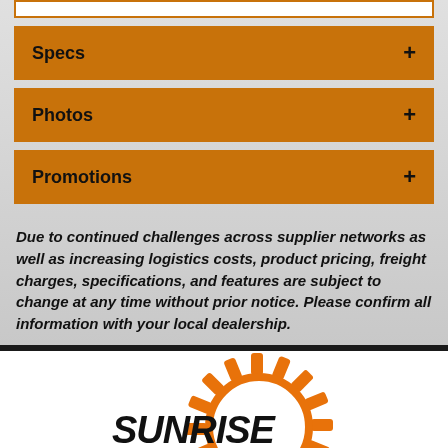Specs
Photos
Promotions
Due to continued challenges across supplier networks as well as increasing logistics costs, product pricing, freight charges, specifications, and features are subject to change at any time without prior notice. Please confirm all information with your local dealership.
[Figure (logo): Sunrise Cycles logo with orange circular gear/chain ring graphic and bold black text reading SUNRISE CYCLES]